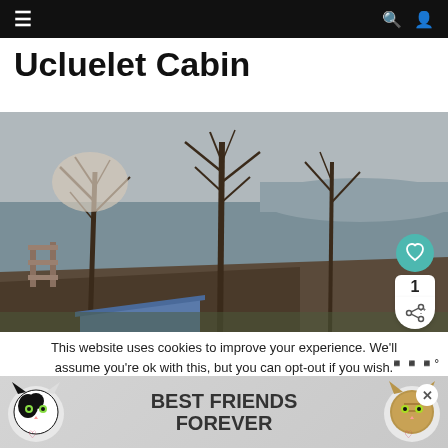≡  🔍 👤
Ucluelet Cabin
[Figure (photo): Aerial view of a waterfront cabin scene with bare winter trees, a dock extending into a calm grey lake or inlet, and a blue-roofed outbuilding in the foreground surrounded by natural landscape.]
WHAT'S NEXT → 37 Animals that Start wit...
This website uses cookies to improve your experience. We'll assume you're ok with this, but you can opt-out if you wish.
[Figure (infographic): Advertisement banner showing two cats (a black-and-white cat on the left and a tabby cat on the right) with the text BEST FRIENDS FOREVER in the center, plus a close button (X) on the right.]